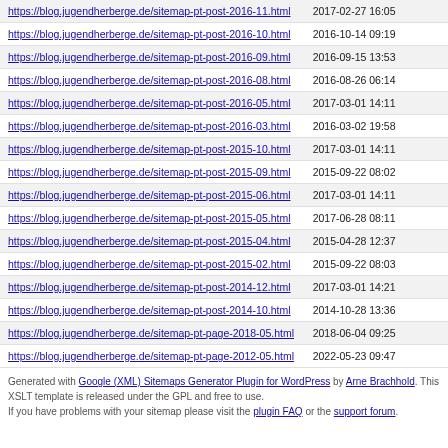| URL | Last Modified |
| --- | --- |
| https://blog.jugendherberge.de/sitemap-pt-post-2016-11.html | 2017-02-27 16:05 |
| https://blog.jugendherberge.de/sitemap-pt-post-2016-10.html | 2016-10-14 09:19 |
| https://blog.jugendherberge.de/sitemap-pt-post-2016-09.html | 2016-09-15 13:53 |
| https://blog.jugendherberge.de/sitemap-pt-post-2016-08.html | 2016-08-26 06:14 |
| https://blog.jugendherberge.de/sitemap-pt-post-2016-05.html | 2017-03-01 14:11 |
| https://blog.jugendherberge.de/sitemap-pt-post-2016-03.html | 2016-03-02 19:58 |
| https://blog.jugendherberge.de/sitemap-pt-post-2015-10.html | 2017-03-01 14:11 |
| https://blog.jugendherberge.de/sitemap-pt-post-2015-09.html | 2015-09-22 08:02 |
| https://blog.jugendherberge.de/sitemap-pt-post-2015-06.html | 2017-03-01 14:11 |
| https://blog.jugendherberge.de/sitemap-pt-post-2015-05.html | 2017-06-28 08:11 |
| https://blog.jugendherberge.de/sitemap-pt-post-2015-04.html | 2015-04-28 12:37 |
| https://blog.jugendherberge.de/sitemap-pt-post-2015-02.html | 2015-09-22 08:03 |
| https://blog.jugendherberge.de/sitemap-pt-post-2014-12.html | 2017-03-01 14:21 |
| https://blog.jugendherberge.de/sitemap-pt-post-2014-10.html | 2014-10-28 13:36 |
| https://blog.jugendherberge.de/sitemap-pt-page-2018-05.html | 2018-06-04 09:25 |
| https://blog.jugendherberge.de/sitemap-pt-page-2012-05.html | 2022-05-23 09:47 |
Generated with Google (XML) Sitemaps Generator Plugin for WordPress by Arne Brachhold. This XSLT template is released under the GPL and free to use. If you have problems with your sitemap please visit the plugin FAQ or the support forum.